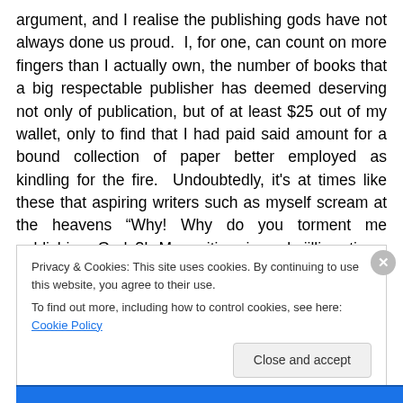argument, and I realise the publishing gods have not always done us proud.  I, for one, can count on more fingers than I actually own, the number of books that a big respectable publisher has deemed deserving not only of publication, but of at least $25 out of my wallet, only to find that I had paid said amount for a bound collection of paper better employed as kindling for the fire.  Undoubtedly, it's at times like these that aspiring writers such as myself scream at the heavens “Why! Why do you torment me publishing Gods?! My writing is a kajillion times better than this piece of crap!” Followed by a few angry stamps of the
Privacy & Cookies: This site uses cookies. By continuing to use this website, you agree to their use.
To find out more, including how to control cookies, see here: Cookie Policy